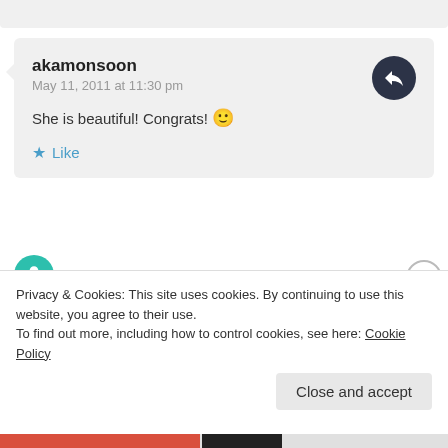akamonsoon
May 11, 2011 at 11:30 pm

She is beautiful! Congrats! 🙂

★ Like
Piglet in Portugal
May 12, 2011 at 12:07 pm

Thanks akamonsoon
Privacy & Cookies: This site uses cookies. By continuing to use this website, you agree to their use.
To find out more, including how to control cookies, see here: Cookie Policy
Close and accept